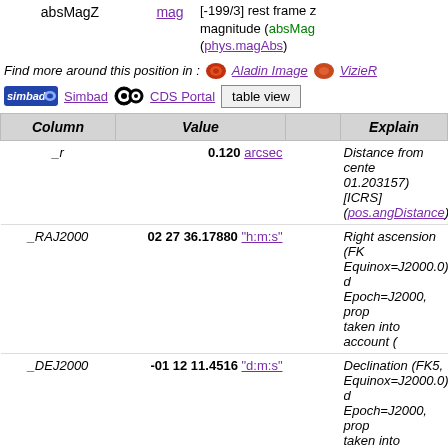| Column | Value |  | Explain |
| --- | --- | --- | --- |
| _r | 0.120 arcsec |  | Distance from cente... 01.203157)[ICRS] (pos.angDistance) |
| _RAJ2000 | 02 27 36.17880 "h:m:s" |  | Right ascension (FK... Equinox=J2000.0) d... Epoch=J2000, prop... taken into account ( |
| _DEJ2000 | -01 12 11.4516 "d:m:s" |  | Declination (FK5, Equinox=J2000.0) d... Epoch=J2000, prop... taken into account ( |
| _RAB1950 | 02 25 03.33508 "h:m:s" |  | Right ascension (FK... Equinox=B1950.0) d... Epoch=J1950, prop... taken into account ( |
absMagZ  mag  [-199/3] rest frame z magnitude (absMag (phys.magAbs)
Find more around this position in : Aladin Image  VizieR
Simbad  CDS Portal  table view